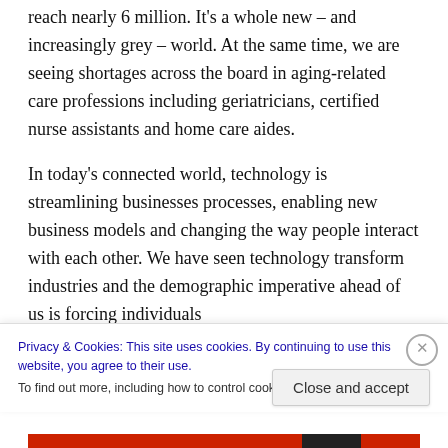reach nearly 6 million. It's a whole new – and increasingly grey – world. At the same time, we are seeing shortages across the board in aging-related care professions including geriatricians, certified nurse assistants and home care aides.
In today's connected world, technology is streamlining businesses processes, enabling new business models and changing the way people interact with each other. We have seen technology transform industries and the demographic imperative ahead of us is forcing individuals
Privacy & Cookies: This site uses cookies. By continuing to use this website, you agree to their use.
To find out more, including how to control cookies, see here: Cookie Policy